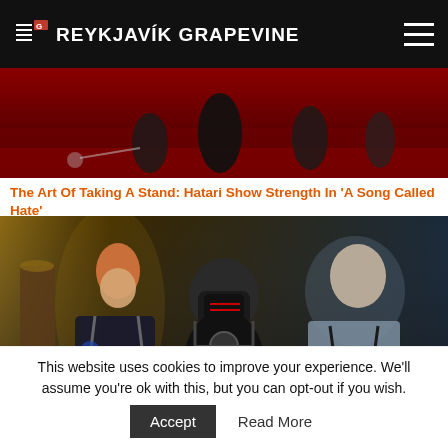THE REYKJAVIK GRAPEVINE
[Figure (photo): Stage performance scene with red carpet and performers in dark costumes]
The Art Of Taking A Stand: Hatari Show Strength In 'A Song Called Hate'
[Figure (photo): Three members of Icelandic band Hatari in black and grey military-style outfits with harnesses]
Six Times Icelandic Eurovision Stars Hatari Trolled The World
This website uses cookies to improve your experience. We'll assume you're ok with this, but you can opt-out if you wish.